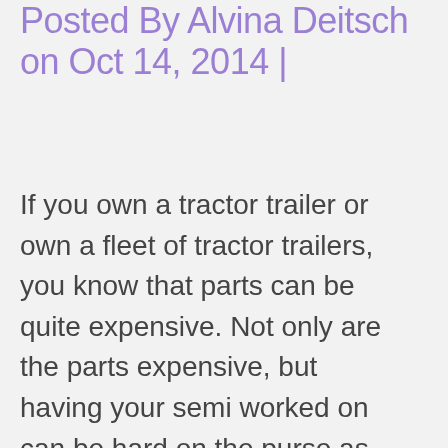Posted By Alvina Deitsch on Oct 14, 2014 |
If you own a tractor trailer or own a fleet of tractor trailers, you know that parts can be quite expensive. Not only are the parts expensive, but having your semi worked on can be hard on the purse as well. The quality of the work will vary from state to state and city to city, so you have to ensure you find a company that will provide service and parts that will last you for a while. If you are in Kansas, and need Semi Truck